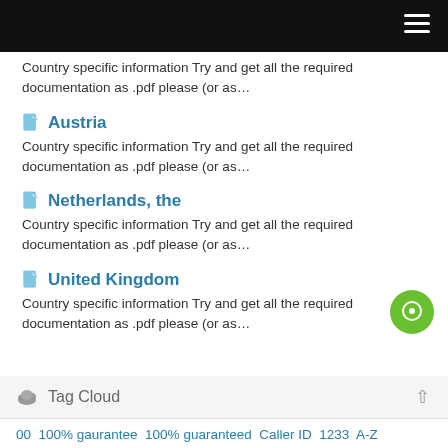Country specific information Try and get all the required documentation as .pdf please (or as...
Austria
Country specific information Try and get all the required documentation as .pdf please (or as...
Netherlands, the
Country specific information Try and get all the required documentation as .pdf please (or as...
United Kingdom
Country specific information Try and get all the required documentation as .pdf please (or as...
Tag Cloud
00 100% gaurantee 100% guaranteed Caller ID 1233 A-Z